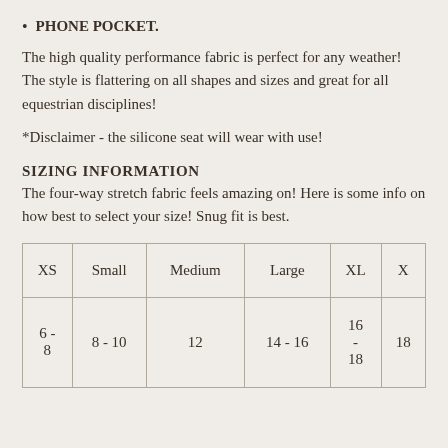PHONE POCKET.
The high quality performance fabric is perfect for any weather! The style is flattering on all shapes and sizes and great for all equestrian disciplines!
*Disclaimer - the silicone seat will wear with use!
SIZING INFORMATION
The four-way stretch fabric feels amazing on! Here is some info on how best to select your size! Snug fit is best.
| XS | Small | Medium | Large | XL | X? |
| --- | --- | --- | --- | --- | --- |
| 6 - 8 | 8 - 10 | 12 | 14 - 16 | 16 - 18 | 18 |